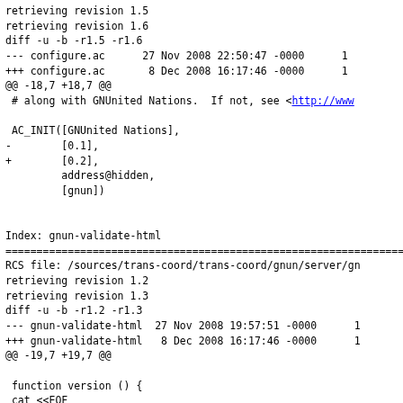retrieving revision 1.5
retrieving revision 1.6
diff -u -b -r1.5 -r1.6
--- configure.ac      27 Nov 2008 22:50:47 -0000      1
+++ configure.ac       8 Dec 2008 16:17:46 -0000      1
@@ -18,7 +18,7 @@
 # along with GNUnited Nations.  If not, see <http://www

 AC_INIT([GNUnited Nations],
 -      [0.1],
 +      [0.2],
        address@hidden,
        [gnun])


Index: gnun-validate-html
====================================================================
RCS file: /sources/trans-coord/trans-coord/gnun/server/gn
retrieving revision 1.2
retrieving revision 1.3
diff -u -b -r1.2 -r1.3
--- gnun-validate-html  27 Nov 2008 19:57:51 -0000      1
+++ gnun-validate-html   8 Dec 2008 16:17:46 -0000      1
@@ -19,7 +19,7 @@

 function version () {
 cat <<EOF
-gnun-validate-html (GNUnited Nations) 0.1
+gnun-validate-html (GNUnited Nations) 0.2
 Copyright (C) 2008 Free Software Foundation, Inc.